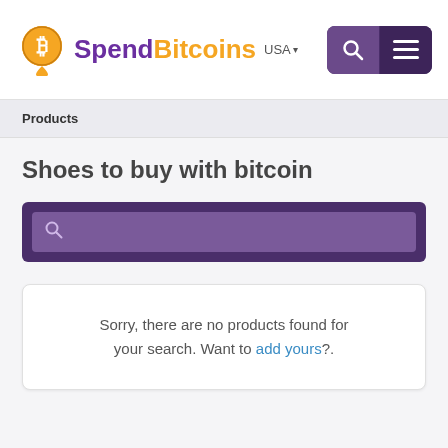[Figure (logo): SpendBitcoins logo: Bitcoin coin icon, 'Spend' in purple and 'Bitcoins' in yellow, with 'USA' dropdown and search/menu buttons on the right]
Products
Shoes to buy with bitcoin
[Figure (other): Search input box with magnifying glass icon, dark purple background]
Sorry, there are no products found for your search. Want to add yours?.